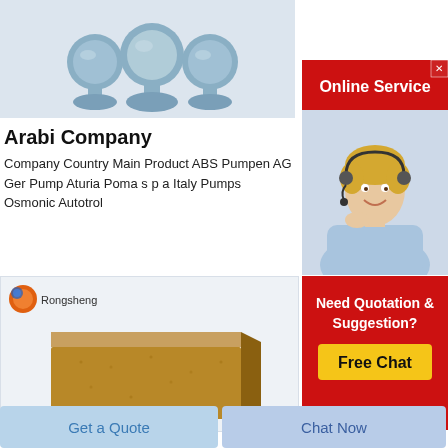[Figure (photo): Three blue-grey ceramic or chemical powder vessels/bottles with round bases on a light grey background]
[Figure (infographic): Online Service red banner with white text and a close X button]
[Figure (photo): Customer service woman wearing a headset, blonde hair, smiling, on light blue background]
Arabi Company
Company Country Main Product ABS Pumpen AG Ger Pump Aturia Poma s p a Italy Pumps Osmonic Autotrol
[Figure (photo): Rongsheng logo (orange sphere with blue accent) and company name, above a tan/brown firebrick product photo on light background]
[Figure (infographic): Red banner with white text 'Need Quotation & Suggestion?' and yellow Free Chat button]
Get a Quote
Chat Now